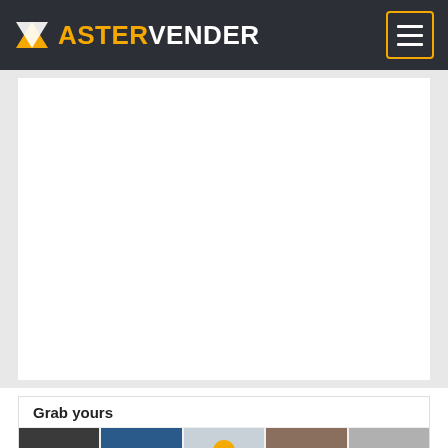AV ASTERVENDER
[Figure (other): Large white blank/empty content area below the navigation bar, serving as the main hero or content panel]
Grab yours
[Figure (photo): Row of product thumbnail images at the bottom of the page partially visible]